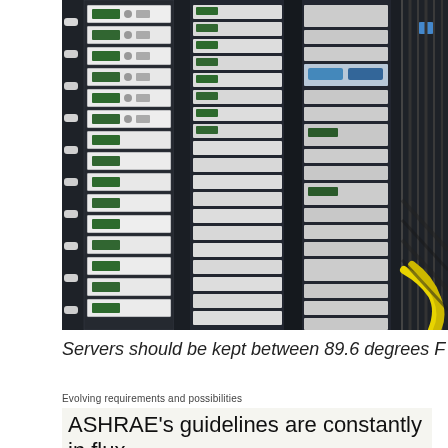[Figure (photo): Photograph of server racks filled with rack-mounted servers with white bezels, green LCD displays, and blue indicators. Yellow fiber optic cables visible at bottom right. Multiple columns of server equipment in a data center.]
Servers should be kept between 89.6 degrees F and...
Evolving requirements and possibilities
ASHRAE's guidelines are constantly in flux,